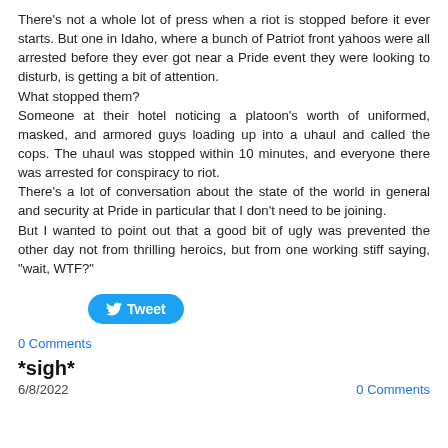There's not a whole lot of press when a riot is stopped before it ever starts. But one in Idaho, where a bunch of Patriot front yahoos were all arrested before they ever got near a Pride event they were looking to disturb, is getting a bit of attention.
What stopped them?
Someone at their hotel noticing a platoon's worth of uniformed, masked, and armored guys loading up into a uhaul and called the cops. The uhaul was stopped within 10 minutes, and everyone there was arrested for conspiracy to riot.
There's a lot of conversation about the state of the world in general and security at Pride in particular that I don't need to be joining.
But I wanted to point out that a good bit of ugly was prevented the other day not from thrilling heroics, but from one working stiff saying, "wait, WTF?"
[Figure (other): Tweet button (Twitter share button)]
0 Comments
*sigh*
6/8/2022    0 Comments